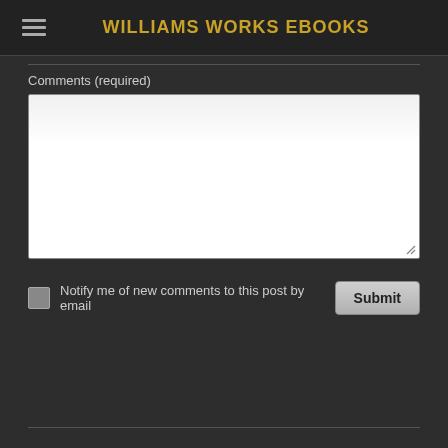WILLIAMS WORKS EBOOKS
Comments (required)
Notify me of new comments to this post by email
Submit